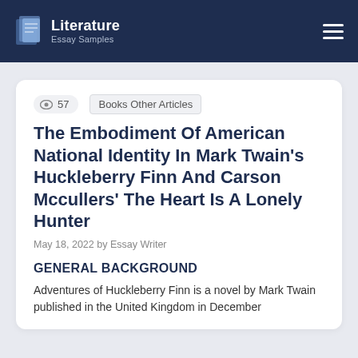Literature Essay Samples
57  Books Other Articles
The Embodiment Of American National Identity In Mark Twain's Huckleberry Finn And Carson Mccullers' The Heart Is A Lonely Hunter
May 18, 2022 by Essay Writer
GENERAL BACKGROUND
Adventures of Huckleberry Finn is a novel by Mark Twain published in the United Kingdom in December